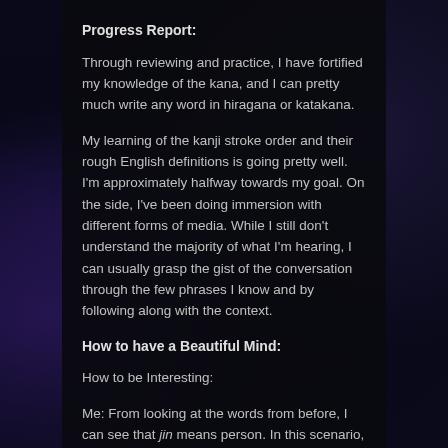Progress Report:
Through reviewing and practice, I have fortified my knowledge of the kana, and I can pretty much write any word in hiragana or katakana.
My learning of the kanji stroke order and their rough English definitions is going pretty well. I'm approximately halfway towards my goal. On the side, I've been doing immersion with different forms of media. While I still don't understand the majority of what I'm hearing, I can usually grasp the gist of the conversation through the few phrases I know and by following along with the context.
How to have a Beautiful Mind:
How to be Interesting:
Me: From looking at the words from before, I can see that jin means person. In this scenario, however, why is the word hito used to mean person?